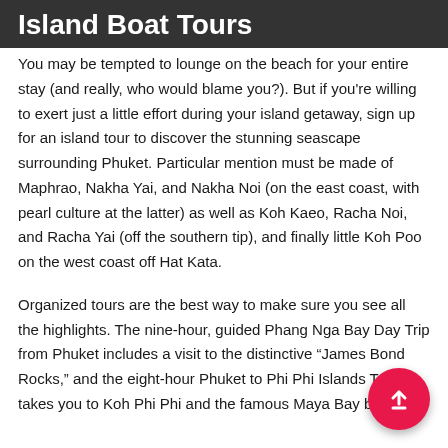Island Boat Tours
You may be tempted to lounge on the beach for your entire stay (and really, who would blame you?). But if you're willing to exert just a little effort during your island getaway, sign up for an island tour to discover the stunning seascape surrounding Phuket. Particular mention must be made of Maphrao, Nakha Yai, and Nakha Noi (on the east coast, with pearl culture at the latter) as well as Koh Kaeo, Racha Noi, and Racha Yai (off the southern tip), and finally little Koh Poo on the west coast off Hat Kata.
Organized tours are the best way to make sure you see all the highlights. The nine-hour, guided Phang Nga Bay Day Trip from Phuket includes a visit to the distinctive “James Bond Rocks,” and the eight-hour Phuket to Phi Phi Islands Tour takes you to Koh Phi Phi and the famous Maya Bay beach...